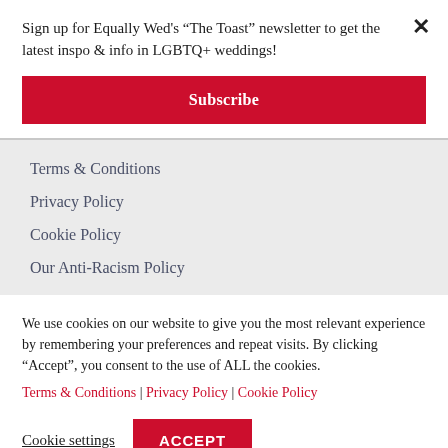Sign up for Equally Wed's “The Toast” newsletter to get the latest inspo & info in LGBTQ+ weddings!
Subscribe
Terms & Conditions
Privacy Policy
Cookie Policy
Our Anti-Racism Policy
We use cookies on our website to give you the most relevant experience by remembering your preferences and repeat visits. By clicking “Accept”, you consent to the use of ALL the cookies. Terms & Conditions | Privacy Policy | Cookie Policy
Cookie settings
ACCEPT